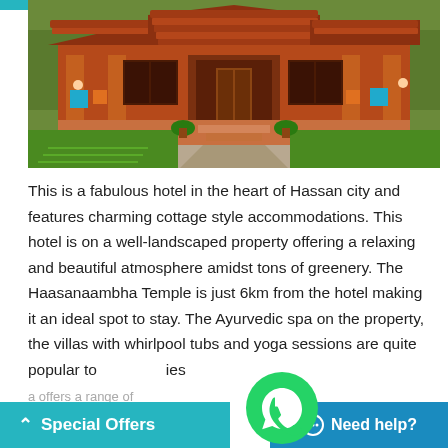[Figure (photo): Exterior photo of a traditional Indian heritage hotel with red-tiled roof cottage style building, lush green lawn, stone pathway leading to entrance, potted plants on steps]
This is a fabulous hotel in the heart of Hassan city and features charming cottage style accommodations. This hotel is on a well-landscaped property offering a relaxing and beautiful atmosphere amidst tons of greenery. The Haasanaambha Temple is just 6km from the hotel making it an ideal spot to stay. The Ayurvedic spa on the property, the villas with whirlpool tubs and yoga sessions are quite popular to... a offers a range of